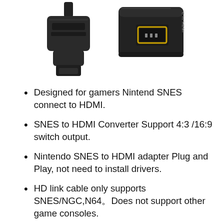[Figure (photo): Two product photos side by side: left shows a black SNES multi-out connector/cable end; right shows a black HDMI adapter box with a gold-rimmed HDMI port on the front face and text on the side.]
Designed for gamers Nintend SNES connect to HDMI.
SNES to HDMI Converter Support 4:3 /16:9 switch output.
Nintendo SNES to HDMI adapter Plug and Play, not need to install drivers.
HD link cable only supports SNES/NGC,N64。Does not support other game consoles.